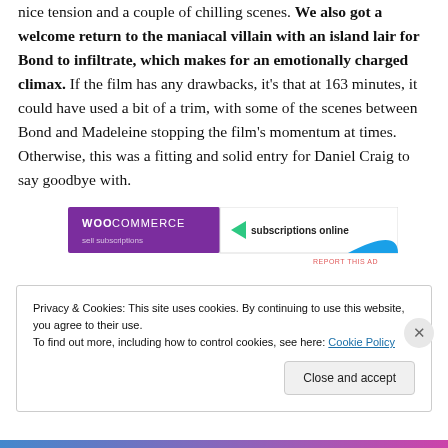nice tension and a couple of chilling scenes. We also got a welcome return to the maniacal villain with an island lair for Bond to infiltrate, which makes for an emotionally charged climax. If the film has any drawbacks, it's that at 163 minutes, it could have used a bit of a trim, with some of the scenes between Bond and Madeleine stopping the film's momentum at times. Otherwise, this was a fitting and solid entry for Daniel Craig to say goodbye with.
[Figure (screenshot): WooCommerce advertisement banner: purple left section with WooCommerce logo and teal arrow, right section showing 'subscriptions online' text with blue arc graphic, and 'REPORT THIS AD' label below]
Privacy & Cookies: This site uses cookies. By continuing to use this website, you agree to their use.
To find out more, including how to control cookies, see here: Cookie Policy